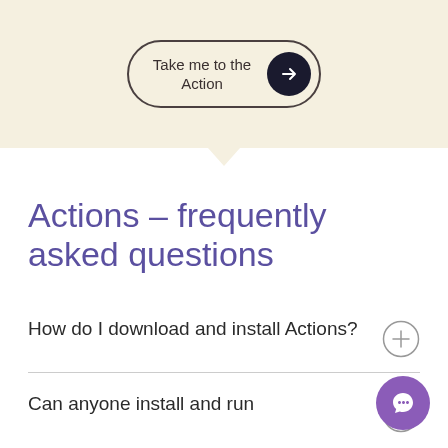[Figure (illustration): A pill-shaped button with text 'Take me to the Action' and a dark circular arrow icon on the right, on a cream/beige background with a downward pointing triangle below]
Actions – frequently asked questions
How do I download and install Actions?
Can anyone install and run